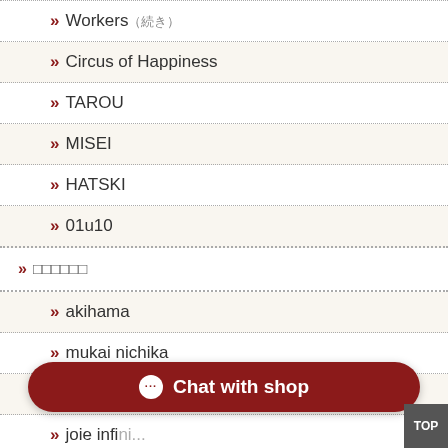» Workers（続き）
» Circus of Happiness
» TAROU
» MISEI
» HATSKI
» 01u10
» ディレクター
» akihama
» mukai nichika
» kyoko honda
» joie infini...
Chat with shop
TOP